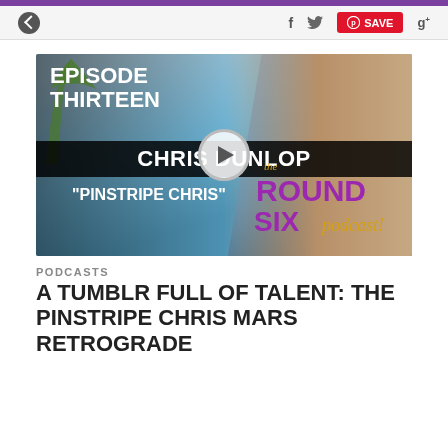navigation bar with back button, f, twitter, SAVE (Pinterest), g+
[Figure (screenshot): Thumbnail image for Round Six Podcast Episode Thirteen featuring Chris Dunlop 'Pinstripe Chris', showing a blue classic car on the left, the episode title text overlay, a play button in the center, the Round Six podcast logo in the lower right, and a man on the right side looking thoughtful.]
PODCASTS
A TUMBLR FULL OF TALENT: THE PINSTRIPE CHRIS MARS RETROGRADE